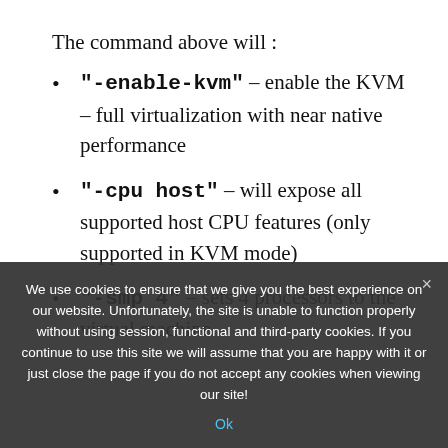The command above will :
"-enable-kvm" – enable the KVM – full virtualization with near native performance
"-cpu host" – will expose all supported host CPU features (only supported in KVM mode)
"-smp 4" – sets 4 processors to the virtual machine
We use cookies to ensure that we give you the best experience on our website. Unfortunately, the site is unable to function properly without using session, functional and third-party cookies. If you continue to use this site we will assume that you are happy with it or just close the page if you do not accept any cookies when viewing our site!